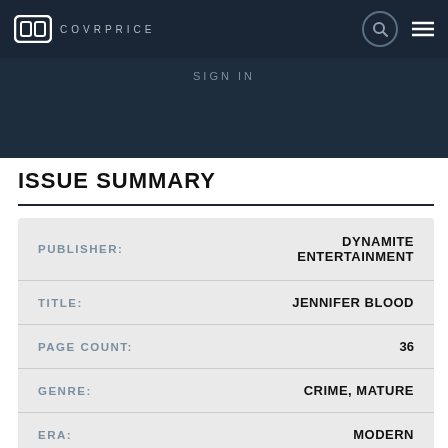COVRPRICE
ISSUE SUMMARY
| Field | Value |
| --- | --- |
| PUBLISHER: | DYNAMITE ENTERTAINMENT |
| TITLE: | JENNIFER BLOOD |
| PAGE COUNT: | 36 |
| GENRE: | CRIME, MATURE |
| ERA: | MODERN |